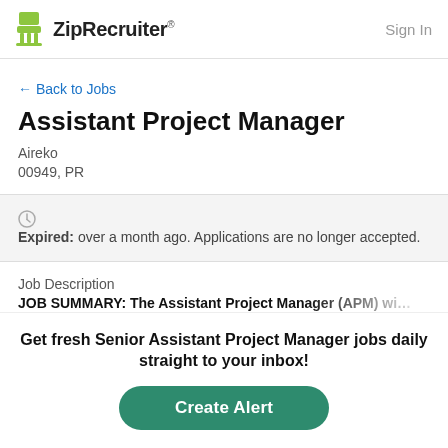ZipRecruiter  Sign In
← Back to Jobs
Assistant Project Manager
Aireko
00949, PR
Expired: over a month ago. Applications are no longer accepted.
Job Description
JOB SUMMARY: The Assistant Project Manager (APM) will b…
Get fresh Senior Assistant Project Manager jobs daily straight to your inbox!
Create Alert